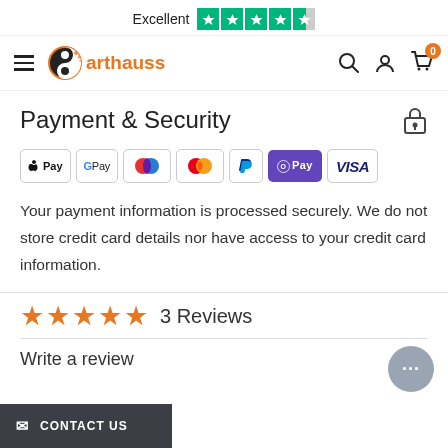Excellent ★★★★☆ (Trustpilot)
[Figure (logo): Arthauss logo with stylized yin-yang globe icon and orange brand name text]
Payment & Security
[Figure (infographic): Payment method icons: Apple Pay, Google Pay, Mastercard (two variants), PayPal, O Pay (purple badge), VISA]
Your payment information is processed securely. We do not store credit card details nor have access to your credit card information.
3 Reviews
Write a review
CONTACT US